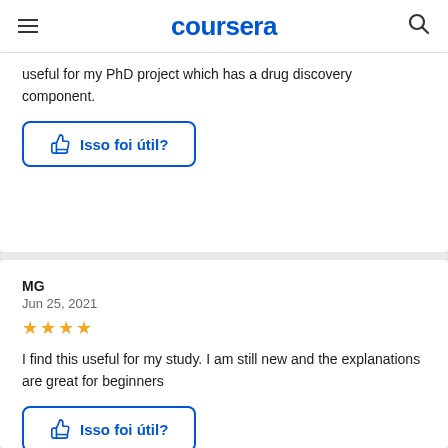coursera
useful for my PhD project which has a drug discovery component.
Isso foi útil?
MG
Jun 25, 2021
[Figure (other): 4 gold stars rating]
I find this useful for my study. I am still new and the explanations are great for beginners
Isso foi útil?